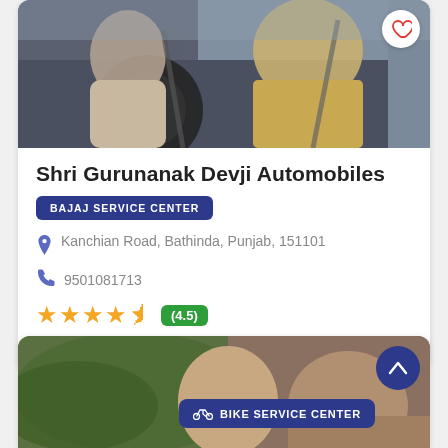[Figure (photo): Two people in a car viewed from outside, driver and passenger, car interior visible]
Shri Gurunanak Devji Automobiles
BAJAJ SERVICE CENTER
Kanchian Road, Bathinda, Punjab, 151101
9501081713
(4.5)
...
[Figure (photo): Two people smiling in a car, lush green background visible through window, BIKE SERVICE CENTER badge overlay]